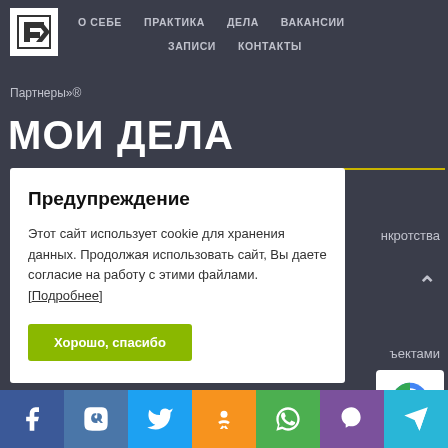[Figure (logo): White square logo with stylized arrow/letter E icon]
О СЕБЕ   ПРАКТИКА   ДЕЛА   ВАКАНСИИ   ЗАПИСИ   КОНТАКТЫ
Партнеры»®
МОИ ДЕЛА
Предупреждение

Этот сайт использует cookie для хранения данных. Продолжая использовать сайт, Вы даете согласие на работу с этими файлами. [Подробнее]

Хорошо, спасибо
нкротства
ъектами
[Figure (other): reCAPTCHA badge icon]
Social bar: Facebook, VK, Twitter, Odnoklassniki, WhatsApp, Viber, Telegram